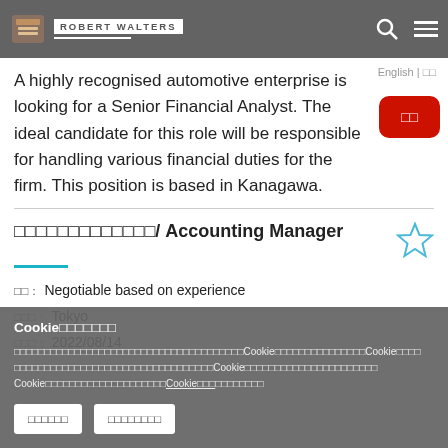AUTOMOTIVE - ROBERT WALTERS
A highly recognised automotive enterprise is looking for a Senior Financial Analyst. The ideal candidate for this role will be responsible for handling various financial duties for the firm. This position is based in Kanagawa.
□□□□□□□□□□□□□/ Accounting Manager
□□: Negotiable based on experience
□□□: Tokyo
□□□: 2022/08/14
Cookie□□□□□□□
□□□□□□□□□□□□□□□□□□□□□□□□□□□□□□□□□□□□Cookie□□□□□□□□□□□□□□□Cookie□□□□□□□□□□□□□□□□□□□□□□□□□□□□□□□□□□□□Cookie□□□□□□□□□□□□□□□□□□□□□□Cookie□□□□□□□□□□□□□□□□□□□□□□□□□□□□□□□□□□□□□□□□□□□□□□□□□□□□□□□□□□□□□□□□□□□□□□□□□□□□□□□□□□□□□□□□□□□□□□□□□□□□□□□□□□□□□□